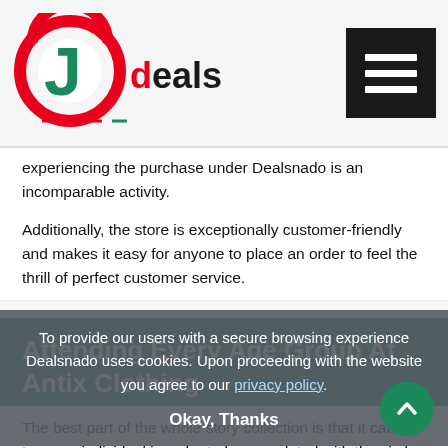Dealsnado logo and navigation menu
experiencing the purchase under Dealsnado is an incomparable activity.
Additionally, the store is exceptionally customer-friendly and makes it easy for anyone to place an order to feel the thrill of perfect customer service.
Attending Every Age Group At Antix Clothing
The best part of the whole story collection is that it caters to every individual in order to keep updated with the circle. No matter where you come from, Antix Clothing with its services will understand what you call for and help you accordingly with discounts and sales wherever possible.
To provide our users with a secure browsing experience Dealsnado uses cookies. Upon proceeding with the website you agree to our privacy policy. Okay, Thanks